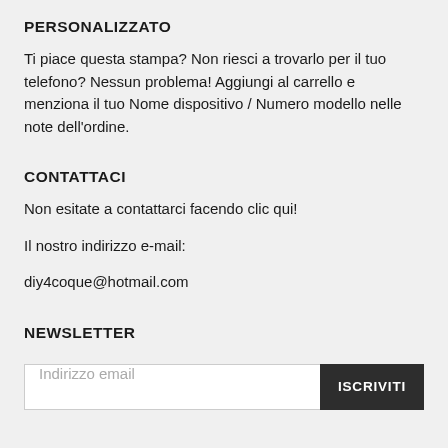PERSONALIZZATO
Ti piace questa stampa? Non riesci a trovarlo per il tuo telefono? Nessun problema! Aggiungi al carrello e menziona il tuo Nome dispositivo / Numero modello nelle note dell'ordine.
CONTATTACI
Non esitate a contattarci facendo clic qui!
Il nostro indirizzo e-mail:
diy4coque@hotmail.com
NEWSLETTER
Indirizzo email
ISCRIVITI